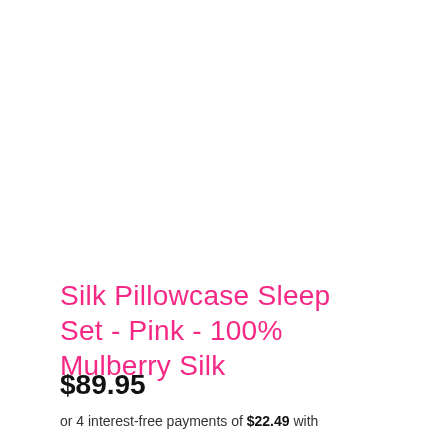Silk Pillowcase Sleep Set - Pink - 100% Mulberry Silk
$89.95
or 4 interest-free payments of $22.49 with